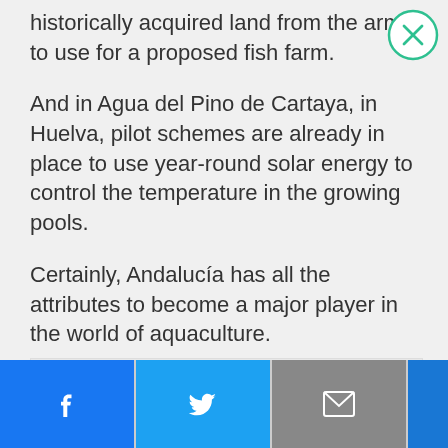historically acquired land from the army to use for a proposed fish farm.
And in Agua del Pino de Cartaya, in Huelva, pilot schemes are already in place to use year-round solar energy to control the temperature in the growing pools.
Certainly, Andalucía has all the attributes to become a major player in the world of aquaculture.
[Figure (other): Gray advertisement placeholder box]
NEXT ARTICLE >